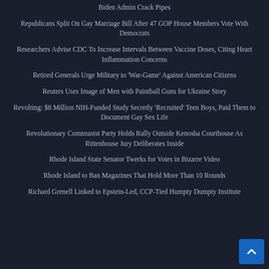Biden Admin Crack Pipes
Republicans Split On Gay Marriage Bill After 47 GOP House Members Vote With Democrats
Researchers Advise CDC To Increase Intervals Between Vaccine Doses, Citing Heart Inflammation Concerns
Retired Generals Urge Military to 'War-Game' Against American Citizens
Reuters Uses Image of Men with Paintball Guns for Ukraine Story
Revolting: $8 Million NIH-Funded Study Secretly 'Recruited' Teen Boys, Paid Them to Document Gay Sex Life
Revolutionary Communist Party Holds Rally Outside Kenosha Courthouse As Rittenhouse Jury Deliberates Inside
Rhode Island State Senator Twerks for Votes in Bizarre Video
Rhode Island to Ban Magazines That Hold More Than 10 Rounds
Richard Grenell Linked to Epstein-Led, CCP-Tied Humpty Dumpty Institute